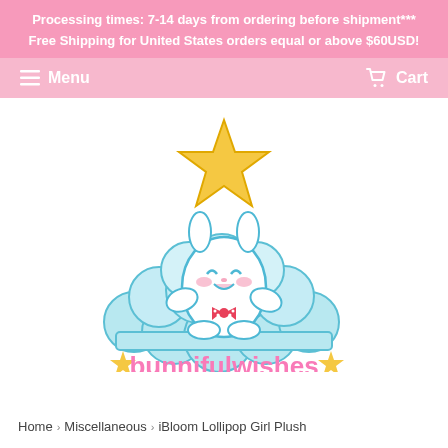Processing times: 7-14 days from ordering before shipment***
Free Shipping for United States orders equal or above $60USD!
Menu   Cart
[Figure (logo): Bunnifulwishes logo: a cute white bunny sitting on a pile of light blue clouds with a yellow star above it, wearing a pink bow tie. Below is the text 'bunnifulwishes' in pink with yellow stars on either side.]
Home › Miscellaneous › iBloom Lollipop Girl Plush